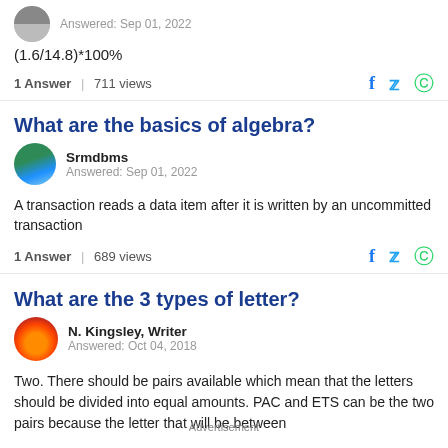[Figure (photo): Partial circular avatar image at top left]
Answered: Sep 01, 2022
(1.6/14.8)*100%
1 Answer | 711 views
What are the basics of algebra?
[Figure (photo): Ocean/landscape circular avatar]
Srmdbms
Answered: Sep 01, 2022
A transaction reads a data item after it is written by an uncommitted transaction
1 Answer | 689 views
What are the 3 types of letter?
[Figure (photo): Sunset circular avatar]
N. Kingsley, Writer
Answered: Oct 04, 2018
Two. There should be pairs available which mean that the letters should be divided into equal amounts. PAC and ETS can be the two pairs because the letter that will be between
Advertisement